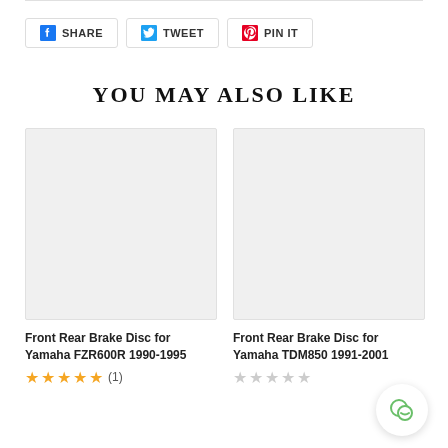[Figure (other): Social share buttons: Facebook Share, Twitter Tweet, Pinterest Pin It]
YOU MAY ALSO LIKE
[Figure (photo): Product image placeholder for Front Rear Brake Disc for Yamaha FZR600R 1990-1995]
Front Rear Brake Disc for Yamaha FZR600R 1990-1995
★★★★★ (1)
[Figure (photo): Product image placeholder for Front Rear Brake Disc for Yamaha TDM850 1991-2001]
Front Rear Brake Disc for Yamaha TDM850 1991-2001
☆☆☆☆☆